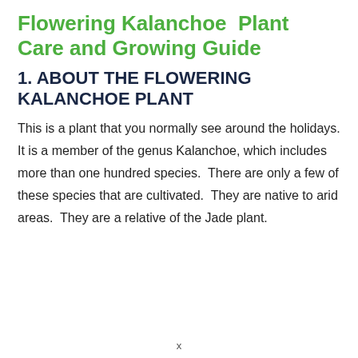Flowering Kalanchoe Plant Care and Growing Guide
1. ABOUT THE FLOWERING KALANCHOE PLANT
This is a plant that you normally see around the holidays. It is a member of the genus Kalanchoe, which includes more than one hundred species.  There are only a few of these species that are cultivated.  They are native to arid areas.  They are a relative of the Jade plant.
x